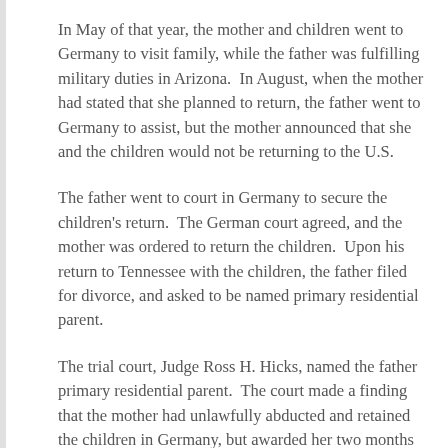In May of that year, the mother and children went to Germany to visit family, while the father was fulfilling military duties in Arizona.  In August, when the mother had stated that she planned to return, the father went to Germany to assist, but the mother announced that she and the children would not be returning to the U.S.
The father went to court in Germany to secure the children's return.  The German court agreed, and the mother was ordered to return the children.  Upon his return to Tennessee with the children, the father filed for divorce, and asked to be named primary residential parent.
The trial court, Judge Ross H. Hicks, named the father primary residential parent.  The court made a finding that the mother had unlawfully abducted and retained the children in Germany, but awarded her two months of unsupervised visitation per year.  The trial judge, however, imposed a condition that the mother must post a bond in